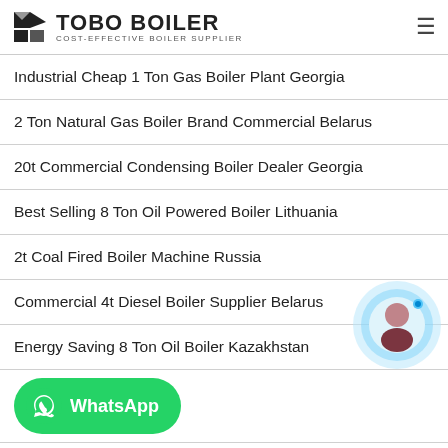[Figure (logo): TOBO BOILER logo with black geometric icon and text 'TOBO BOILER COST-EFFECTIVE BOILER SUPPLIER']
Industrial Cheap 1 Ton Gas Boiler Plant Georgia
2 Ton Natural Gas Boiler Brand Commercial Belarus
20t Commercial Condensing Boiler Dealer Georgia
Best Selling 8 Ton Oil Powered Boiler Lithuania
2t Coal Fired Boiler Machine Russia
Commercial 4t Diesel Boiler Supplier Belarus
Energy Saving 8 Ton Oil Boiler Kazakhstan
[Figure (illustration): WhatsApp green button with icon and text 'WhatsApp']
[Figure (photo): Chat support avatar — woman in circle with light blue background]
Agent 4 Ton Oil Powered Boiler Commercial Russia